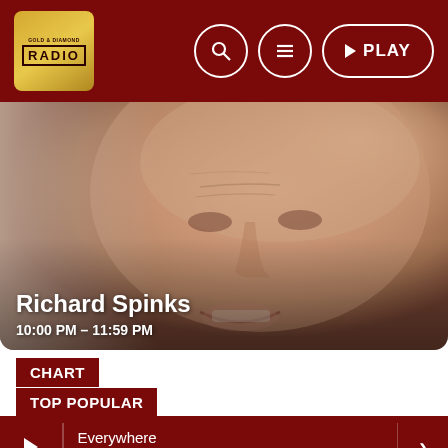[Figure (screenshot): Radio app header with dark red background, gold RADIO logo on left, and search/menu/play buttons on right]
[Figure (photo): Close-up portrait photo of Richard Spinks, a bald white male smiling, with name and show time overlaid]
Richard Spinks
10:00 PM – 11:59 PM
CHART
TOP POPULAR
Everywhere
Fleetwood Mac